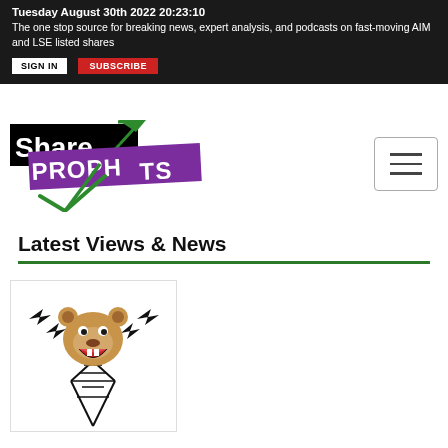Tuesday August 30th 2022 20:23:10
The one stop source for breaking news, expert analysis, and podcasts on fast-moving AIM and LSE listed shares
SIGN IN   SUBSCRIBE
[Figure (logo): ShareProphets logo with black background for 'Share', purple banner for 'PROPHETS', and green arrow/checkmark]
Latest Views & News
[Figure (illustration): Cartoon bear head with lightning bolts on a radio tower, representing bearish market commentary]